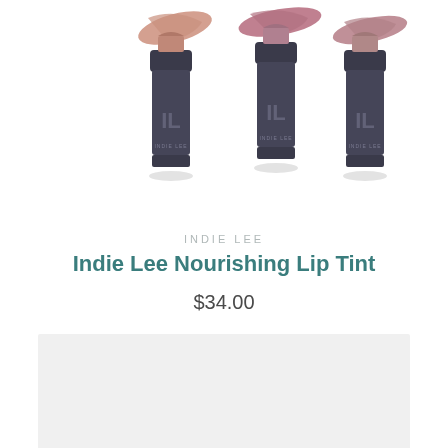[Figure (photo): Three Indie Lee lipstick tubes with color swatches above them on a white background. The tubes are dark gray/charcoal with 'IL' and 'INDIE LEE' branding. Colors shown are nude/mauve tones.]
INDIE LEE
Indie Lee Nourishing Lip Tint
$34.00
[Figure (photo): Light gray placeholder rectangle at bottom of page]